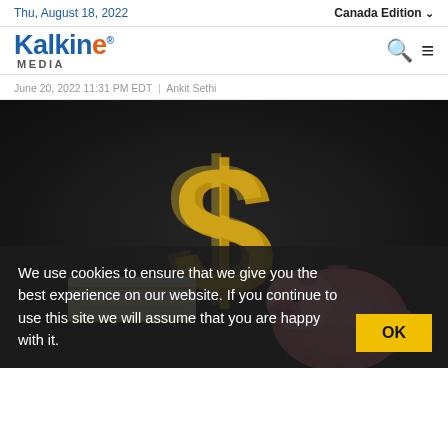Thu, August 18, 2022 | Canada Edition
Kalkine Media
June 20, 2022 11:31 PM EDT | Ankit Sethi
[Figure (photo): A gold dollar sign symbol behind a stack of cash and a pink piggy bank on a dark background, representing savings and finance]
We use cookies to ensure that we give you the best experience on our website. If you continue to use this site we will assume that you are happy with it.